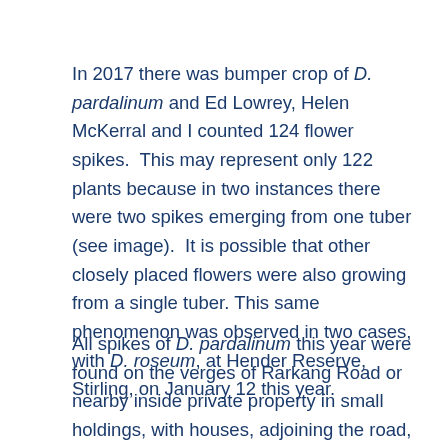In 2017 there was bumper crop of D. pardalinum and Ed Lowrey, Helen McKerral and I counted 124 flower spikes.  This may represent only 122 plants because in two instances there were two spikes emerging from one tuber (see image).  It is possible that other closely placed flowers were also growing from a single tuber. This same phenomenon was observed in two cases, with D. roseum, at Hender Reserve, Stirling, on January 12 this year.
All spikes of D. pardalinum this year were found on the verges of Rarkang Road or nearby inside private property in small holdings, with houses, adjoining the road, apart from two spikes only,